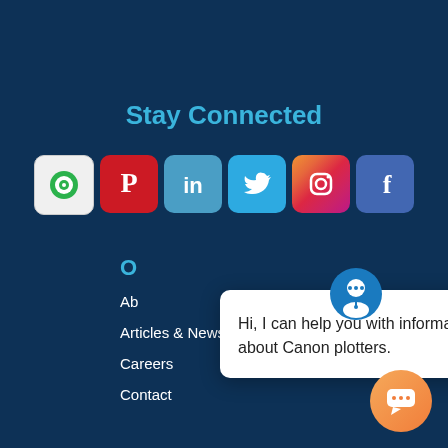Stay Connected
[Figure (illustration): Social media icons row: Feedly, Pinterest, LinkedIn, Twitter, Instagram, Facebook]
O...
Ab...
Articles & News
Careers
Contact
[Figure (illustration): Chat popup with avatar icon saying: Hi, I can help you with information about Canon plotters. Close button and chat bubble button in bottom right.]